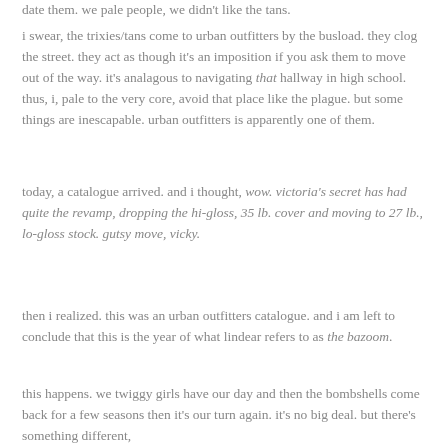date them. we pale people, we didn't like the tans.
i swear, the trixies/tans come to urban outfitters by the busload. they clog the street. they act as though it's an imposition if you ask them to move out of the way. it's analagous to navigating that hallway in high school. thus, i, pale to the very core, avoid that place like the plague. but some things are inescapable. urban outfitters is apparently one of them.
today, a catalogue arrived. and i thought, wow. victoria's secret has had quite the revamp, dropping the hi-gloss, 35 lb. cover and moving to 27 lb., lo-gloss stock. gutsy move, vicky.
then i realized. this was an urban outfitters catalogue. and i am left to conclude that this is the year of what lindear refers to as the bazoom.
this happens. we twiggy girls have our day and then the bombshells come back for a few seasons then it's our turn again. it's no big deal. but there's something different, something distinctly american in these urban outfitter...